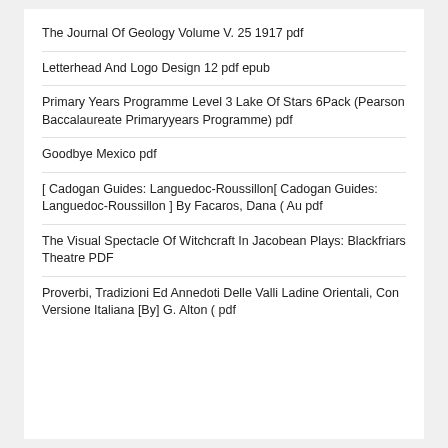The Journal Of Geology Volume V. 25 1917 pdf
Letterhead And Logo Design 12 pdf epub
Primary Years Programme Level 3 Lake Of Stars 6Pack (Pearson Baccalaureate Primaryyears Programme) pdf
Goodbye Mexico pdf
[ Cadogan Guides: Languedoc-Roussillon[ Cadogan Guides: Languedoc-Roussillon ] By Facaros, Dana ( Au pdf
The Visual Spectacle Of Witchcraft In Jacobean Plays: Blackfriars Theatre PDF
Proverbi, Tradizioni Ed Annedoti Delle Valli Ladine Orientali, Con Versione Italiana [By] G. Alton ( pdf